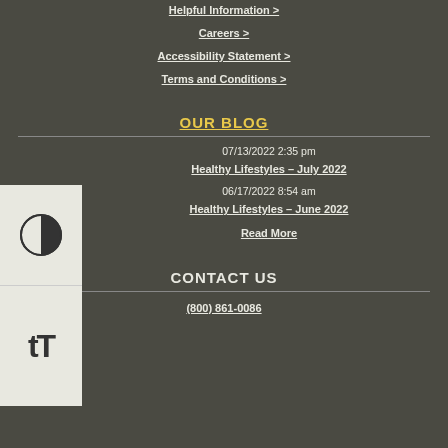Helpful Information >
Careers >
Accessibility Statement >
Terms and Conditions >
OUR BLOG
07/13/2022 2:35 pm
Healthy Lifestyles – July 2022
06/17/2022 8:54 am
Healthy Lifestyles – June 2022
Read More
CONTACT US
(800) 861-0086